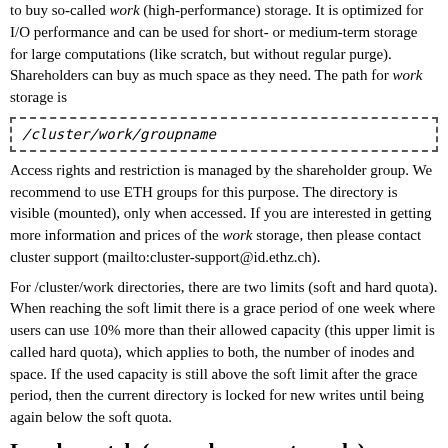to buy so-called work (high-performance) storage. It is optimized for I/O performance and can be used for short- or medium-term storage for large computations (like scratch, but without regular purge). Shareholders can buy as much space as they need. The path for work storage is
Access rights and restriction is managed by the shareholder group. We recommend to use ETH groups for this purpose. The directory is visible (mounted), only when accessed. If you are interested in getting more information and prices of the work storage, then please contact cluster support (mailto:cluster-support@id.ethz.ch).
For /cluster/work directories, there are two limits (soft and hard quota). When reaching the soft limit there is a grace period of one week where users can use 10% more than their allowed capacity (this upper limit is called hard quota), which applies to both, the number of inodes and space. If the used capacity is still above the soft limit after the grace period, then the current directory is locked for new writes until being again below the soft quota.
Local scratch (on each compute node)